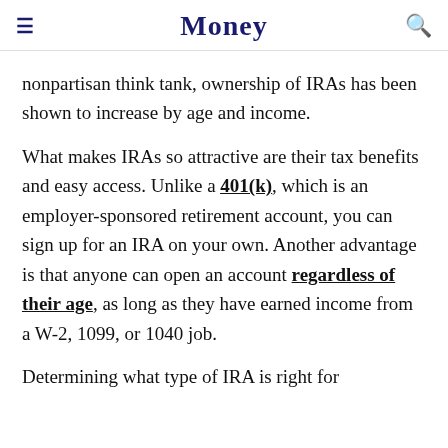Money
nonpartisan think tank, ownership of IRAs has been shown to increase by age and income.
What makes IRAs so attractive are their tax benefits and easy access. Unlike a 401(k), which is an employer-sponsored retirement account, you can sign up for an IRA on your own. Another advantage is that anyone can open an account regardless of their age, as long as they have earned income from a W-2, 1099, or 1040 job.
Determining what type of IRA is right for